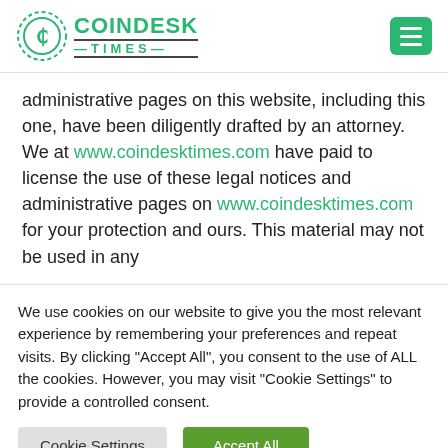[Figure (logo): CoinDesk Times logo with circular coin icon and green text]
administrative pages on this website, including this one, have been diligently drafted by an attorney. We at www.coindesktimes.com have paid to license the use of these legal notices and administrative pages on www.coindesktimes.com for your protection and ours. This material may not be used in any
We use cookies on our website to give you the most relevant experience by remembering your preferences and repeat visits. By clicking "Accept All", you consent to the use of ALL the cookies. However, you may visit "Cookie Settings" to provide a controlled consent.